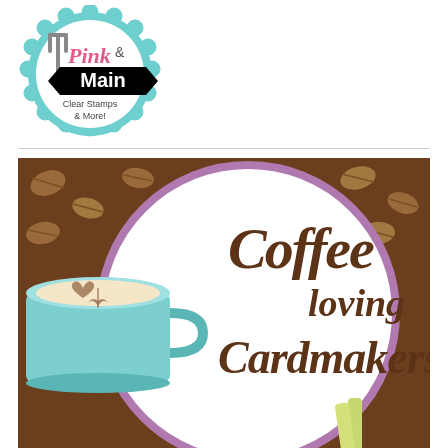[Figure (logo): Pink and Main Clear Stamps & More! logo — teal scalloped circle badge with fork and spoon graphic, pink cursive 'Pink' text, black bold 'Main' on black banner, text 'Clear Stamps & More!']
[Figure (illustration): Coffee Loving Cardmakers promotional banner image — brown coffee bean background, large purple-rimmed white circle, decorative script text reading 'Coffee loving Cardmakers', teal coffee mug with latte art on left, iced drink with straw on lower right]